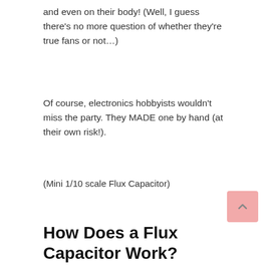and even on their body! (Well, I guess there's no more question of whether they're true fans or not…)
Of course, electronics hobbyists wouldn't miss the party. They MADE one by hand (at their own risk!).
(Mini 1/10 scale Flux Capacitor)
How Does a Flux Capacitor Work?
Flux Capacitor Theory